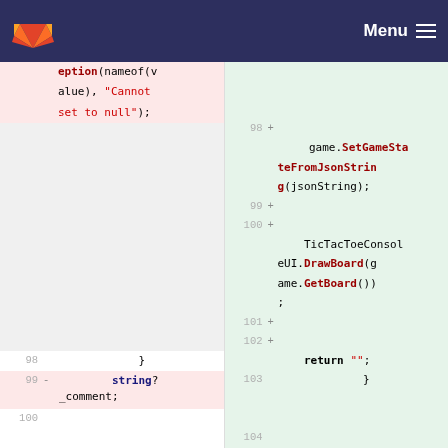GitLab navigation bar with logo and Menu
[Figure (screenshot): Code diff view showing removed lines (pink background, left pane) and added lines (green background, right pane) of C# source code. Left pane shows ArgumentNullException with nameof(value) and 'Cannot set to null' string, closing brace, string? _comment; lines at rows 98-100. Right pane shows lines 98-102+ with game.SetGameStateFromJsonString(jsonString), TicTacToeConsoleUI.DrawBoard(game.GetBoard()), return empty string, and closing brace at line 103. Line 99 shows removed 'string? _comment;' and line 104 appears at bottom.]